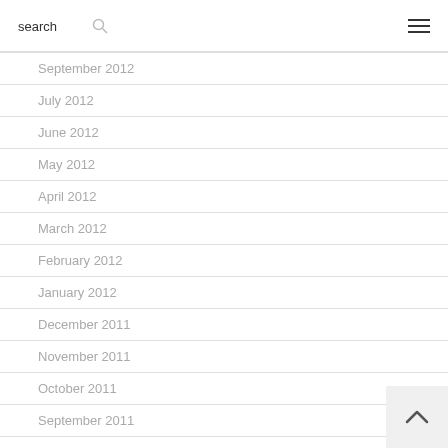search ☰
September 2012
July 2012
June 2012
May 2012
April 2012
March 2012
February 2012
January 2012
December 2011
November 2011
October 2011
September 2011
June 2011